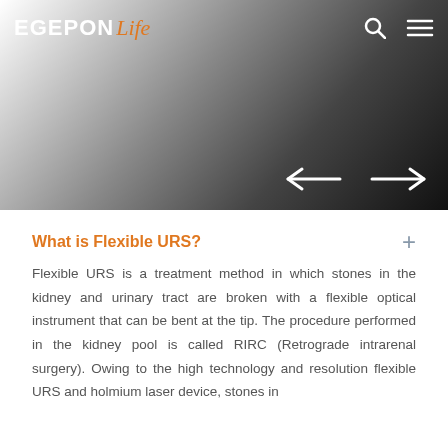EGEPON Life
[Figure (photo): Hero banner image with gradient from white to black, serving as a decorative background with navigation arrows]
What is Flexible URS?
Flexible URS is a treatment method in which stones in the kidney and urinary tract are broken with a flexible optical instrument that can be bent at the tip. The procedure performed in the kidney pool is called RIRC (Retrograde intrarenal surgery). Owing to the high technology and resolution flexible URS and holmium laser device, stones in